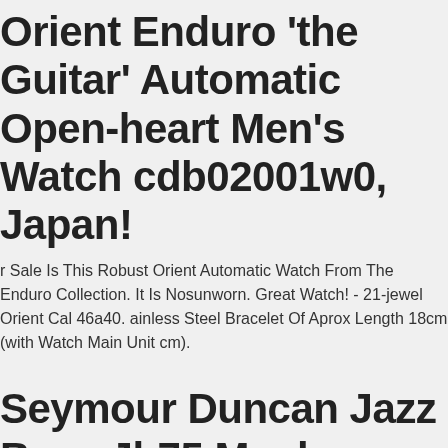Orient Enduro 'the Guitar' Automatic Open-heart Men's Watch cdb02001w0, Japan!
r Sale Is This Robust Orient Automatic Watch From The Enduro Collection. It Is Nosunworn. Great Watch! - 21-jewel Orient Cal 46a40. ainless Steel Bracelet Of Aprox Length 18cm (with Watch Main Unit cm).
Seymour Duncan Jazz Bass Jb75 Maple Fingerboard Ash Body Block Inlay
nly Seymour Duncan's Jazz Bass Body! Very Popular Jb75 Type! xcellent Live Sound! The Finest Ash Body, Maple Neck, Neck Binding, nd Block Inlays Make For A Gorgeous Gem! Cheap Bargain! Australia